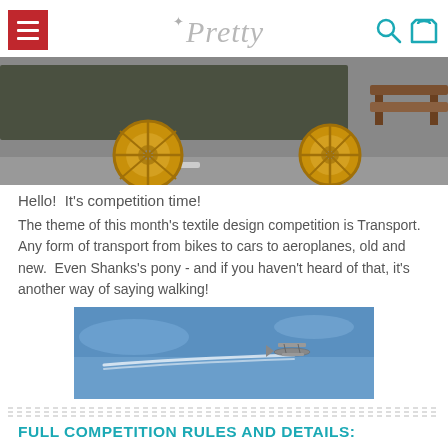Pretty (logo with hamburger menu, search, and cart icons)
[Figure (photo): Close-up photo of a vintage vehicle's lower body and large yellow/gold wheels on a grey road surface, with a wooden bench visible on the right.]
Hello!  It's competition time!
The theme of this month's textile design competition is Transport.  Any form of transport from bikes to cars to aeroplanes, old and new.  Even Shanks's pony - and if you haven't heard of that, it's another way of saying walking!
[Figure (photo): Photo of a biplane flying against a blue sky, leaving a white contrail behind it.]
FULL COMPETITION RULES AND DETAILS:
Please upload your competition designs to your account on our